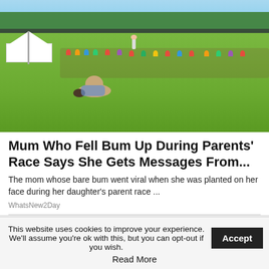[Figure (photo): Outdoor school sports day scene. A woman has fallen face-down on the grass with her bum in the air. Children and parents are seated around the field perimeter watching. A white marquee tent is visible on the left, trees and a fence in the background, sunny day.]
Mum Who Fell Bum Up During Parents' Race Says She Gets Messages From...
The mom whose bare bum went viral when she was planted on her face during her daughter's parent race ...
WhatsNew2Day
This website uses cookies to improve your experience. We'll assume you're ok with this, but you can opt-out if you wish.
Read More